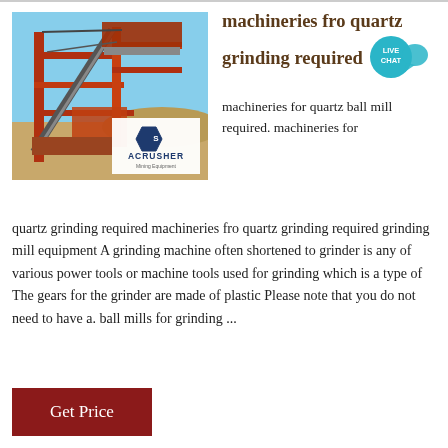[Figure (photo): Industrial mining/crushing equipment with red metal structures, conveyor belts, and machinery against a blue sky. An ACRUSHER Mining Equipment logo overlay appears in the lower right of the image.]
machineries fro quartz grinding required
machineries for quartz ball mill required. machineries for
quartz grinding required machineries fro quartz grinding required grinding mill equipment A grinding machine often shortened to grinder is any of various power tools or machine tools used for grinding which is a type of The gears for the grinder are made of plastic Please note that you do not need to have a. ball mills for grinding ...
Get Price